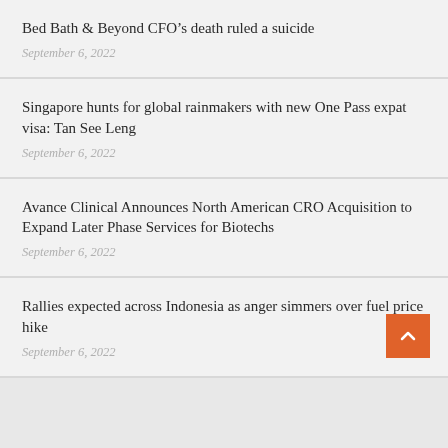Bed Bath & Beyond CFO’s death ruled a suicide
September 6, 2022
Singapore hunts for global rainmakers with new One Pass expat visa: Tan See Leng
September 6, 2022
Avance Clinical Announces North American CRO Acquisition to Expand Later Phase Services for Biotechs
September 6, 2022
Rallies expected across Indonesia as anger simmers over fuel price hike
September 6, 2022